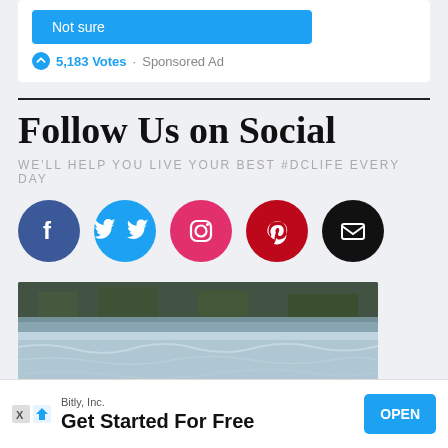[Figure (other): A button labeled 'Not sure' in blue, followed by '5,183 Votes · Sponsored Ad' text with a trending icon]
Follow Us on Social
WE'LL HELP YOU LIVE YOUR BEST #DCLIFE EVERY DAY
[Figure (infographic): Five social media circular icon buttons: Facebook (dark blue), Twitter (light blue), Instagram (pink), Pinterest (dark red), Email (black)]
[Figure (photo): A photograph of a water surface with ripples and reflections, partially visible]
Bitly, Inc.
Get Started For Free